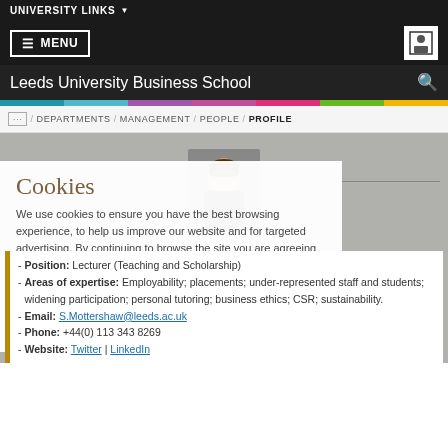UNIVERSITY LINKS
≡ MENU
Leeds University Business School
DEPARTMENTS / MANAGEMENT / PEOPLE / PROFILE
Stacey Mottershaw
Cookies
We use cookies to ensure you have the best browsing experience, to help us improve our website and for targeted advertising. By continuing to browse the site you are agreeing to our use of cookies.
Accept
Settings
Find out more
Position: Lecturer (Teaching and Scholarship)
Areas of expertise: Employability; placements; under-represented staff and students; widening participation; personal tutoring; business ethics; CSR; sustainability.
Email: S.Mottershaw@leeds.ac.uk
Phone: +44(0) 113 343 8269
Website: Twitter | LinkedIn